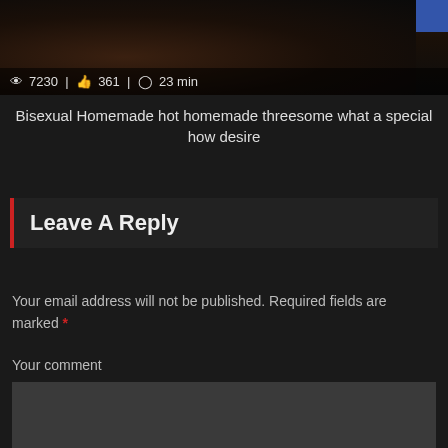[Figure (screenshot): Video thumbnail showing dark scene with stats overlay: 7230 views, 361 likes, 23 min duration]
Bisexual Homemade hot homemade threesome what a special how desire
Leave A Reply
Your email address will not be published. Required fields are marked *
Your comment